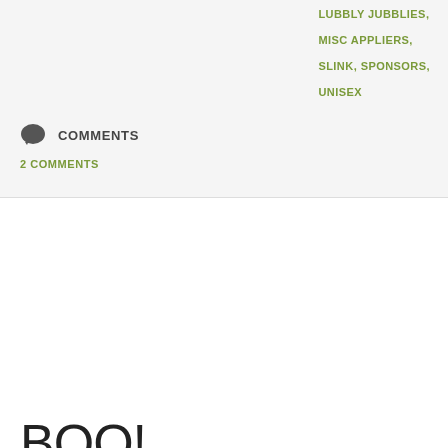LUBBLY JUBBLIES,
MISC APPLIERS,
SLINK, SPONSORS,
UNISEX
COMMENTS
2 COMMENTS
BOO!
[Figure (photo): Two virtual avatars side by side wearing black beanies with 'BOO' text, pearl necklaces, and dark clothing against a dark background.]